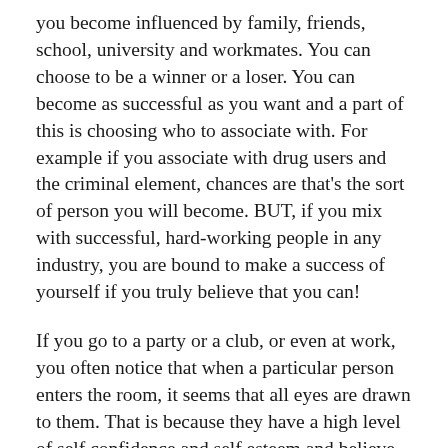you become influenced by family, friends, school, university and workmates. You can choose to be a winner or a loser. You can become as successful as you want and a part of this is choosing who to associate with. For example if you associate with drug users and the criminal element, chances are that's the sort of person you will become. BUT, if you mix with successful, hard-working people in any industry, you are bound to make a success of yourself if you truly believe that you can!
If you go to a party or a club, or even at work, you often notice that when a particular person enters the room, it seems that all eyes are drawn to them. That is because they have a high level of self confidence and self esteem and believe in themselves totally. That causes them to radiate that belief outwards and attract attention. A lot of high powered salespeople have this as a natural part of their persona. Some prime ministers. presidents and other public figures